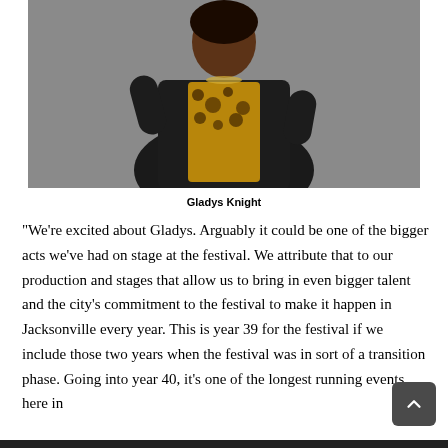[Figure (photo): Gladys Knight posing in a black leather jacket over a leopard print top, photographed against a gray background.]
Gladys Knight
“We’re excited about Gladys. Arguably it could be one of the bigger acts we’ve had on stage at the festival. We attribute that to our production and stages that allow us to bring in even bigger talent and the city’s commitment to the festival to make it happen in Jacksonville every year. This is year 39 for the festival if we include those two years when the festival was in sort of a transition phase. Going into year 40, it’s one of the longest running events here in